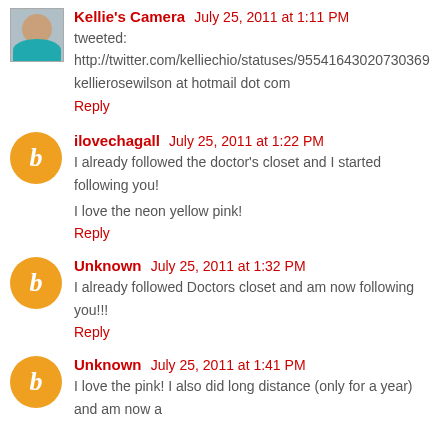Kellie's Camera  July 25, 2011 at 1:11 PM
tweeted:
http://twitter.com/kelliechio/statuses/95541643020730369
kellierosewilson at hotmail dot com
Reply
ilovechagall  July 25, 2011 at 1:22 PM
I already followed the doctor's closet and I started following you!
I love the neon yellow pink!
Reply
Unknown  July 25, 2011 at 1:32 PM
I already followed Doctors closet and am now following you!!!
Reply
Unknown  July 25, 2011 at 1:41 PM
I love the pink! I also did long distance (only for a year) and am now a...